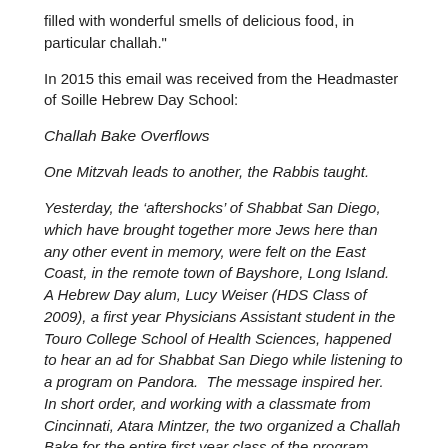filled with wonderful smells of delicious food, in particular challah."
In 2015 this email was received from the Headmaster of Soille Hebrew Day School:
Challah Bake Overflows
One Mitzvah leads to another, the Rabbis taught.
Yesterday, the ‘aftershocks’ of Shabbat San Diego, which have brought together more Jews here than any other event in memory, were felt on the East Coast, in the remote town of Bayshore, Long Island.  A Hebrew Day alum, Lucy Weiser (HDS Class of 2009), a first year Physicians Assistant student in the Touro College School of Health Sciences, happened to hear an ad for Shabbat San Diego while listening to a program on Pandora.  The message inspired her.  In short order, and working with a classmate from Cincinnati, Atara Mintzer, the two organized a Challah Bake for the entire first year class of the program. Supplies were hastily purchased, the full